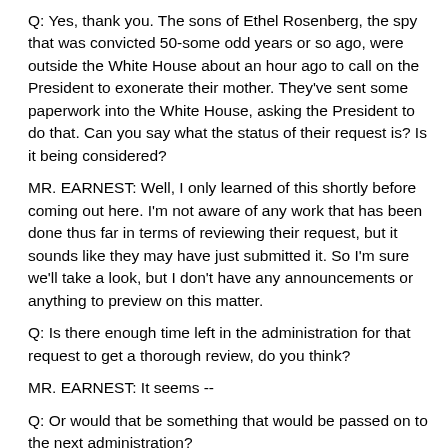Q: Yes, thank you. The sons of Ethel Rosenberg, the spy that was convicted 50-some odd years or so ago, were outside the White House about an hour ago to call on the President to exonerate their mother. They've sent some paperwork into the White House, asking the President to do that. Can you say what the status of their request is? Is it being considered?
MR. EARNEST: Well, I only learned of this shortly before coming out here. I'm not aware of any work that has been done thus far in terms of reviewing their request, but it sounds like they may have just submitted it. So I'm sure we'll take a look, but I don't have any announcements or anything to preview on this matter.
Q: Is there enough time left in the administration for that request to get a thorough review, do you think?
MR. EARNEST: It seems --
Q: Or would that be something that would be passed on to the next administration?